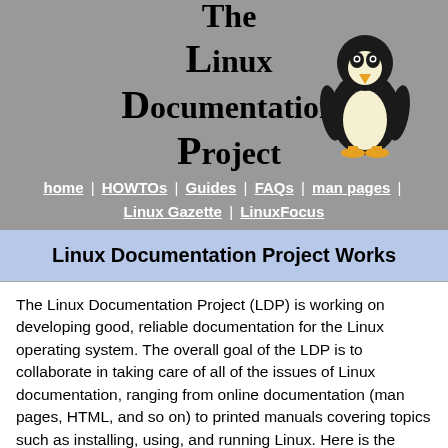[Figure (logo): The Linux Documentation Project logo with penguin illustration on grey background]
home | HOWTOs | Guides | FAQs | man pages | Linux Gazette | LinuxFocus
Linux Documentation Project Works
The Linux Documentation Project (LDP) is working on developing good, reliable documentation for the Linux operating system. The overall goal of the LDP is to collaborate in taking care of all of the issues of Linux documentation, ranging from online documentation (man pages, HTML, and so on) to printed manuals covering topics such as installing, using, and running Linux. Here is the Linux Documentation Project Manifesto and Copyright License for LDP works.